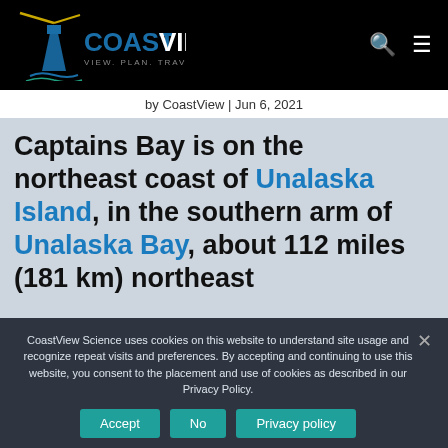[Figure (logo): CoastView logo with lighthouse icon and text COASTVIEW VIEW. PLAN. TRAVEL on black background, with search and hamburger menu icons]
by CoastView | Jun 6, 2021
Captains Bay is on the northeast coast of Unalaska Island, in the southern arm of Unalaska Bay, about 112 miles (181 km) northeast
CoastView Science uses cookies on this website to understand site usage and recognize repeat visits and preferences. By accepting and continuing to use this website, you consent to the placement and use of cookies as described in our Privacy Policy.
Accept | No | Privacy policy